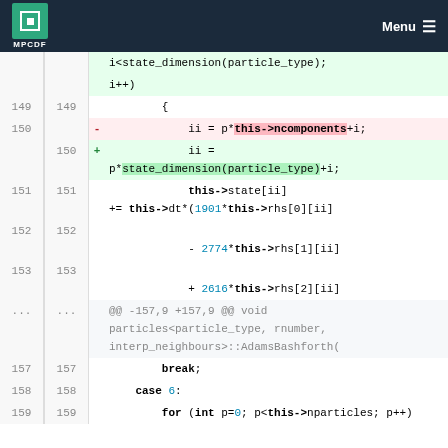MPCDF — Menu
[Figure (screenshot): Code diff view showing changes to a C++ particle simulation file. Lines 149-153 and 157-159 are shown with line numbers, a removed line (150-) replacing p*this->ncomponents+i with p*state_dimension(particle_type)+i (150+), and additional code lines for Adams-Bashforth integration and break/case/for statements.]